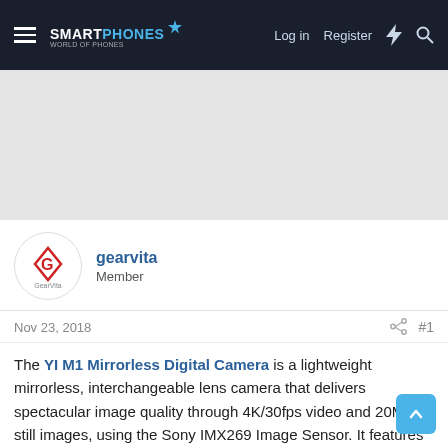SMARTPHONES – Log in  Register
[Figure (other): Grey advertisement banner area]
[Figure (logo): GearVita logo – red diamond G shape with GearVita text below]
gearvita
Member
Nov 23, 2018
#1
The YI M1 Mirrorless Digital Camera is a lightweight mirrorless, interchangeable lens camera that delivers spectacular image quality through 4K/30fps video and 20MP still images, using the Sony IMX269 Image Sensor. It features built-in Bluetooth and Wi-Fi that effortlessly connects to the accompanying YI Mirrorless App for you to download Master Guide templates, view, download, and share footage, and remotely shoot pictures.